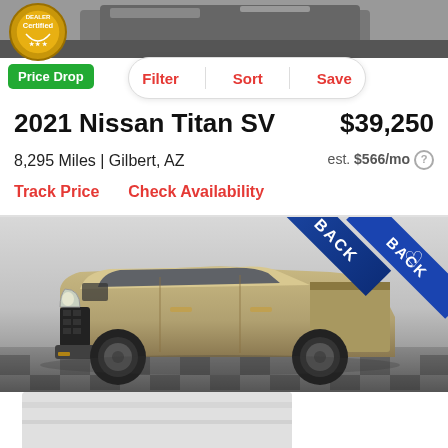[Figure (photo): Top strip showing partial car image in grey background, cropped at top of page]
[Figure (logo): Dealer certified badge - circular gold logo with text]
Price Drop
[Figure (screenshot): Filter bar with Filter, Sort, Save buttons]
2021 Nissan Titan SV
$39,250
8,295 Miles | Gilbert, AZ
est. $566/mo
Track Price   Check Availability
[Figure (photo): 2021 Nissan Titan SV pickup truck in tan/gold color parked in dealer showroom with checkered floor. Blue ribbon badge in upper right corner with heart/save icon.]
[Figure (photo): Bottom partial image strip, light grey]